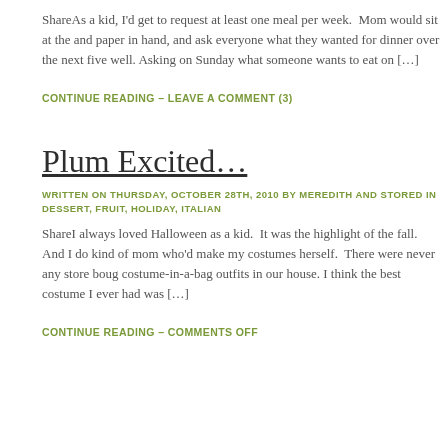ShareAs a kid, I'd get to request at least one meal per week.  Mom would sit at the and paper in hand, and ask everyone what they wanted for dinner over the next five well. Asking on Sunday what someone wants to eat on […]
CONTINUE READING – LEAVE A COMMENT (3)
Plum Excited…
WRITTEN ON THURSDAY, OCTOBER 28TH, 2010 BY MEREDITH AND STORED IN
DESSERT, FRUIT, HOLIDAY, ITALIAN
ShareI always loved Halloween as a kid.  It was the highlight of the fall.  And I do kind of mom who'd make my costumes herself.  There were never any store boug costume-in-a-bag outfits in our house. I think the best costume I ever had was […]
CONTINUE READING – COMMENTS OFF